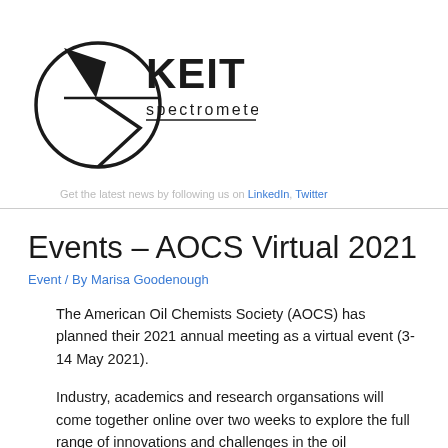[Figure (logo): KEIT spectrometers logo — circular emblem with stylized arrow/blade shapes and bold text KEIT above the word spectrometers]
Get the latest news by following us on LinkedIn, Twitter
Events – AOCS Virtual 2021
Event / By Marisa Goodenough
The American Oil Chemists Society (AOCS) has planned their 2021 annual meeting as a virtual event (3-14 May 2021).
Industry, academics and research organsations will come together online over two weeks to explore the full range of innovations and challenges in the oil processing chain – covering leading industry